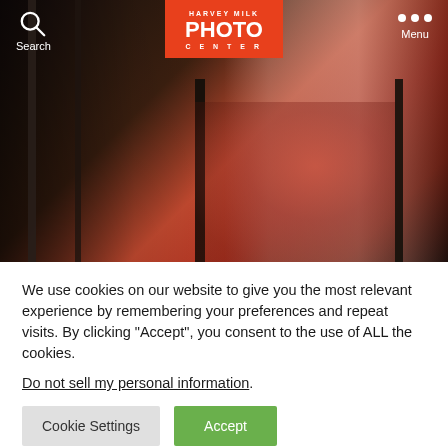[Figure (screenshot): Website screenshot of Harvey Milk Photo Center. Top navigation bar with Search icon on left, Harvey Milk Photo Center orange logo in center, and Menu (three dots) on right. Background shows a dark moody photograph of a person in red clothing inside a dark frame/room structure.]
We use cookies on our website to give you the most relevant experience by remembering your preferences and repeat visits. By clicking “Accept”, you consent to the use of ALL the cookies.
Do not sell my personal information.
Cookie Settings
Accept